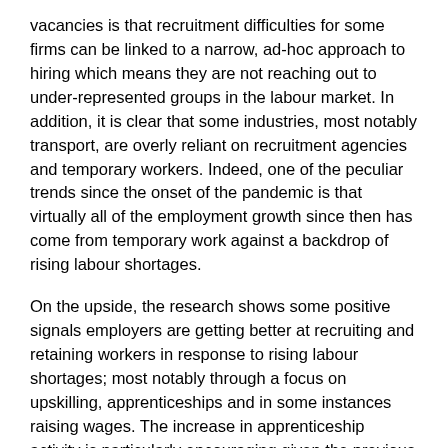vacancies is that recruitment difficulties for some firms can be linked to a narrow, ad-hoc approach to hiring which means they are not reaching out to under-represented groups in the labour market. In addition, it is clear that some industries, most notably transport, are overly reliant on recruitment agencies and temporary workers. Indeed, one of the peculiar trends since the onset of the pandemic is that virtually all of the employment growth since then has come from temporary work against a backdrop of rising labour shortages.
On the upside, the research shows some positive signals employers are getting better at recruiting and retaining workers in response to rising labour shortages; most notably through a focus on upskilling, apprenticeships and in some instances raising wages. The increase in apprenticeship activity is particularly encouraging given the previous disruption. However, the tail of employers who are struggling to find solutions suggests that more government intervention is required to deal with this rising challenge that go beyond a temporary financial incentive of £3,000 to hire apprentices.
What do the Government need to do?
In summary, the CIPD is recommending the below government...